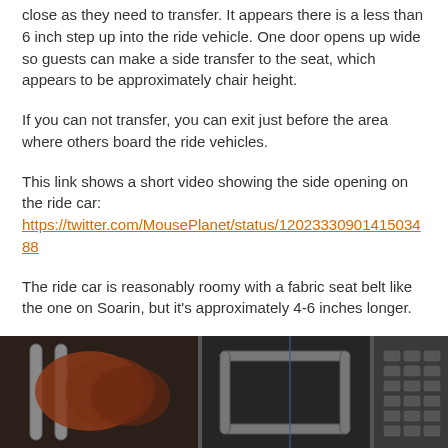close as they need to transfer. It appears there is a less than 6 inch step up into the ride vehicle. One door opens up wide so guests can make a side transfer to the seat, which appears to be approximately chair height.
If you can not transfer, you can exit just before the area where others board the ride vehicles.
This link shows a short video showing the side opening on the ride car: https://twitter.com/MousePlanet/status/1202333090141503488
The ride car is reasonably roomy with a fabric seat belt like the one on Soarin, but it's approximately 4-6 inches longer.
[Figure (photo): Photo of ride car interior showing seat belts and control panels]